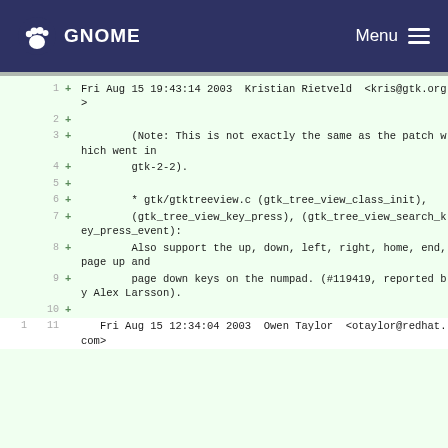GNOME  Menu
1  + Fri Aug 15 19:43:14 2003  Kristian Rietveld  <kris@gtk.org>
2  +
3  +        (Note: This is not exactly the same as the patch which went in
4  +        gtk-2-2).
5  +
6  +        * gtk/gtktreeview.c (gtk_tree_view_class_init),
7  +        (gtk_tree_view_key_press), (gtk_tree_view_search_key_press_event):
8  +        Also support the up, down, left, right, home, end, page up and
9  +        page down keys on the numpad. (#119419, reported by Alex Larsson).
10 +
11    Fri Aug 15 12:34:04 2003  Owen Taylor  <otaylor@redhat.com>